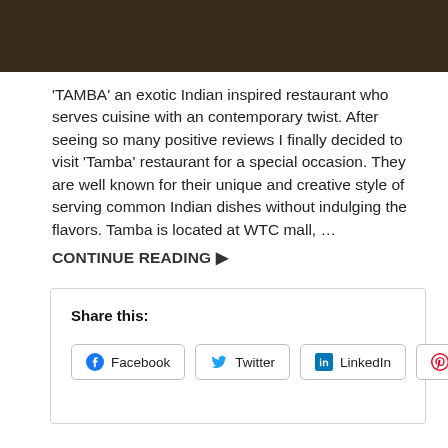[Figure (photo): Dark photo strip at top of page, appears to show a restaurant or food scene with dark brown tones]
'TAMBA' an exotic Indian inspired restaurant who serves cuisine with an contemporary twist. After seeing so many positive reviews I finally decided to visit 'Tamba' restaurant for a special occasion. They are well known for their unique and creative style of serving common Indian dishes without indulging the flavors. Tamba is located at WTC mall, ...
CONTINUE READING ▶
Share this:
Facebook
Twitter
LinkedIn
Pinterest